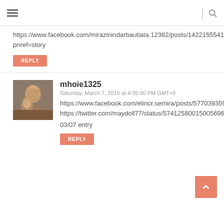≡ | 🔍
https://www.facebook.com/mirazinindarbautiata.12382/posts/14221555414116467pnref=story
REPLY
[Figure (photo): Avatar photo of two women smiling together]
mhoie1325
Saturday, March 7, 2015 at 4:35:00 PM GMT+8
https://www.facebook.com/elinor.semira/posts/577039359065105
https://twitter.com/maydoll77/status/574125800150056961
03/07 entry
REPLY